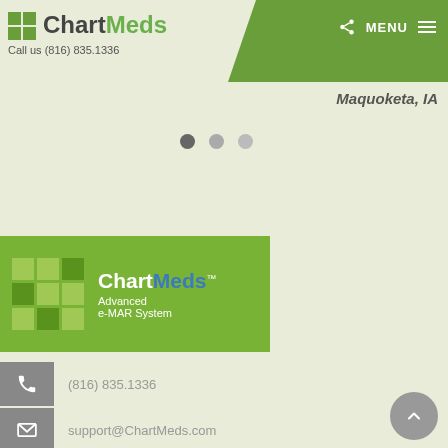ChartMeds — Call us (816) 835.1336
Maquoketa, IA
[Figure (other): Slider pagination dots — three circles, first active]
[Figure (logo): ChartMeds Advanced e-MAR System logo with green grid squares]
(816) 835.1336
support@ChartMeds.com